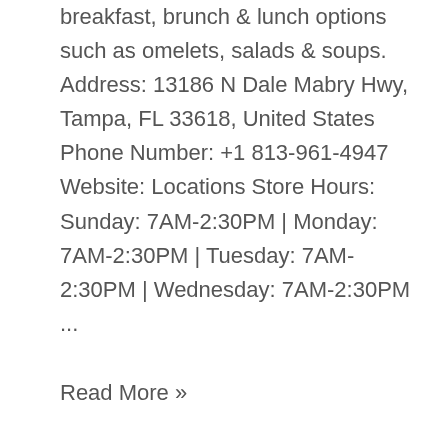breakfast, brunch & lunch options such as omelets, salads & soups. Address: 13186 N Dale Mabry Hwy, Tampa, FL 33618, United States Phone Number: +1 813-961-4947 Website: Locations Store Hours: Sunday: 7AM-2:30PM | Monday: 7AM-2:30PM | Tuesday: 7AM-2:30PM | Wednesday: 7AM-2:30PM ...
Read More »